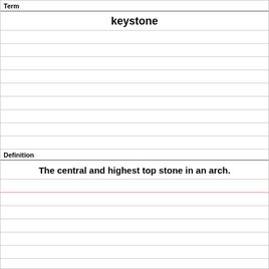Term
keystone
Definition
The central and highest top stone in an arch.